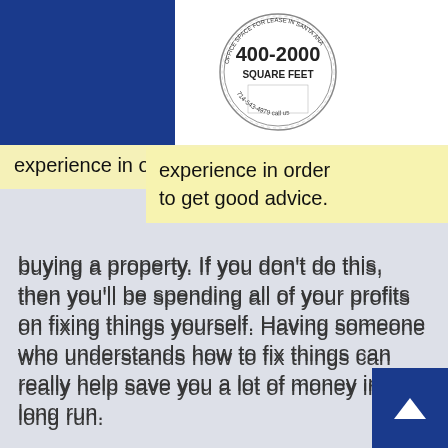[Figure (logo): Circular logo reading 'Office Space for Lease in Santa Ana, 400-2000 Square Feet, 714-543-4979 call us']
experience in order to get good advice.
buying a property. If you don't do this, then you'll be spending all of your profits on fixing things yourself. Having someone who understands how to fix things can really help save you a lot of money in the long run.
TIP! Property values go up and down; don't make the assumption that it will go up only. It's dangerous to think this for the market or for a single piece of property.
Real estate investing sometimes provides ordinary people with extraordinary wealth. Without